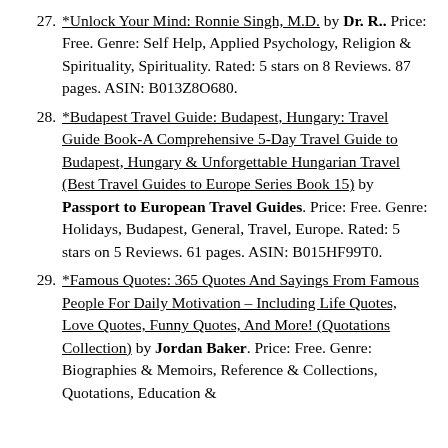27. *Unlock Your Mind: Ronnie Singh, M.D. by Dr. R.. Price: Free. Genre: Self Help, Applied Psychology, Religion & Spirituality, Spirituality. Rated: 5 stars on 8 Reviews. 87 pages. ASIN: B013Z8O680.
28. *Budapest Travel Guide: Budapest, Hungary: Travel Guide Book-A Comprehensive 5-Day Travel Guide to Budapest, Hungary & Unforgettable Hungarian Travel (Best Travel Guides to Europe Series Book 15) by Passport to European Travel Guides. Price: Free. Genre: Holidays, Budapest, General, Travel, Europe. Rated: 5 stars on 5 Reviews. 61 pages. ASIN: B015HF99T0.
29. *Famous Quotes: 365 Quotes And Sayings From Famous People For Daily Motivation – Including Life Quotes, Love Quotes, Funny Quotes, And More! (Quotations Collection) by Jordan Baker. Price: Free. Genre: Biographies & Memoirs, Reference & Collections, Quotations, Education &